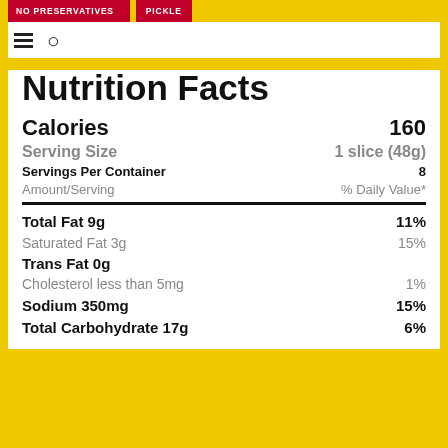NO PRESERVATIVES | PICKLE
Nutrition Facts
Calories 160
Serving Size 1 slice (48g)
Servings Per Container 8
Amount/Serving % Daily Value*
| Nutrient | Amount | % Daily Value |
| --- | --- | --- |
| Total Fat 9g |  | 11% |
| Saturated Fat 3g |  | 15% |
| Trans Fat 0g |  |  |
| Cholesterol less than 5mg |  | 1% |
| Sodium 350mg |  | 15% |
| Total Carbohydrate 17g |  | 6% |